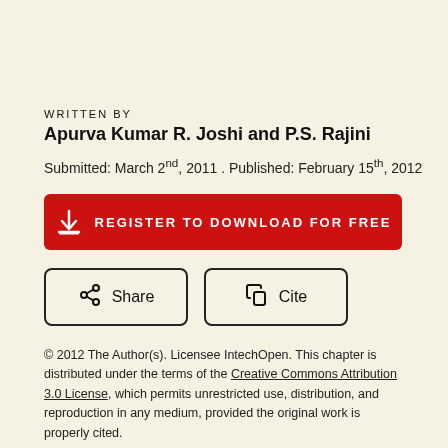WRITTEN BY
Apurva Kumar R. Joshi and P.S. Rajini
Submitted: March 2nd, 2011 . Published: February 15th, 2012
[Figure (other): Red button: REGISTER TO DOWNLOAD FOR FREE with download icon]
[Figure (other): Two outline buttons: Share (with share icon) and Cite (with copy icon)]
© 2012 The Author(s). Licensee IntechOpen. This chapter is distributed under the terms of the Creative Commons Attribution 3.0 License, which permits unrestricted use, distribution, and reproduction in any medium, provided the original work is properly cited.